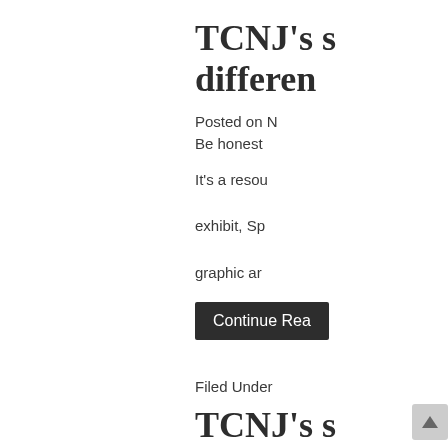TCNJ's s different
Posted on N Be honest
It's a resou exhibit, Sp graphic ar
Continue Rea
Filed Under
TCNJ's s differen
Posted